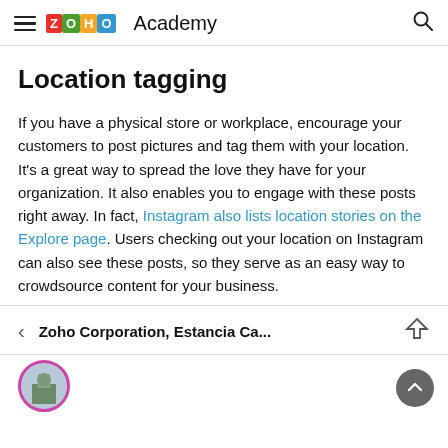ZOHO Academy
Location tagging
If you have a physical store or workplace, encourage your customers to post pictures and tag them with your location. It’s a great way to spread the love they have for your organization. It also enables you to engage with these posts right away. In fact, Instagram also lists location stories on the Explore page. Users checking out your location on Instagram can also see these posts, so they serve as an easy way to crowdsource content for your business.
[Figure (screenshot): Instagram location bar showing 'Zoho Corporation, Estancia Ca...' with back arrow and send icon, and a profile avatar circle below]